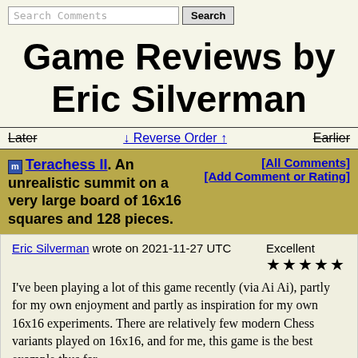Search Comments [Search button]
Game Reviews by Eric Silverman
Later  ↓ Reverse Order ↑  Earlier
m Terachess II. An unrealistic summit on a very large board of 16x16 squares and 128 pieces. [All Comments] [Add Comment or Rating]
Eric Silverman wrote on 2021-11-27 UTC   Excellent ★★★★★

I've been playing a lot of this game recently (via Ai Ai), partly for my own enjoyment and partly as inspiration for my own 16x16 experiments. There are relatively few modern Chess variants played on 16x16, and for me, this game is the best example thus far.